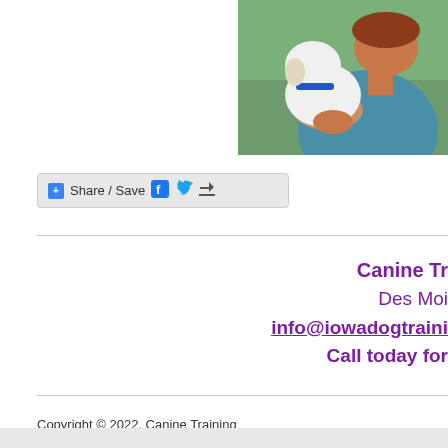[Figure (photo): Person holding a white dog with blue collar, outdoors with green background, woman wearing teal shirt and bracelet]
[Figure (screenshot): Share / Save social media sharing bar with Facebook, Twitter, and general share icons]
Canine Tr...
Des Moi...
info@iowadogtraini...
Call today for...
Copyright © 2022, Canine Training by Mystic Moon, Inc.